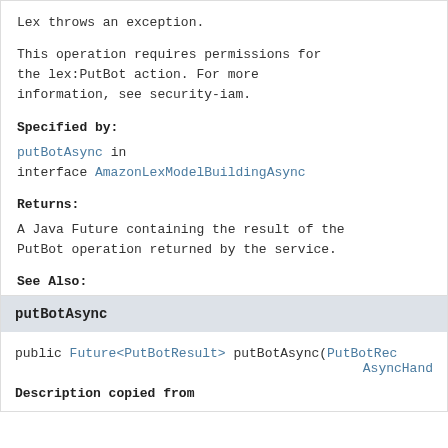Lex throws an exception.
This operation requires permissions for the lex:PutBot action. For more information, see security-iam.
Specified by:
putBotAsync in interface AmazonLexModelBuildingAsync
Returns:
A Java Future containing the result of the PutBot operation returned by the service.
See Also:
AWS API Documentation
putBotAsync
public Future<PutBotResult> putBotAsync(PutBotRec AsyncHandc
Description copied from